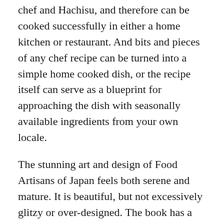chef and Hachisu, and therefore can be cooked successfully in either a home kitchen or restaurant. And bits and pieces of any chef recipe can be turned into a simple home cooked dish, or the recipe itself can serve as a blueprint for approaching the dish with seasonally available ingredients from your own locale.
The stunning art and design of Food Artisans of Japan feels both serene and mature. It is beautiful, but not excessively glitzy or over-designed. The book has a certain soberness that feels respectful, but not at all dull. This fresh, honest work delves into the vast ocean of Japanese culinary and artistic traditions, celebrating the chefs and artisans from around Japan... straight from the heart. Food Artisans of Japan is a finalist in the 2020 IACP Cookbook Awards in the Culinary Travel ...